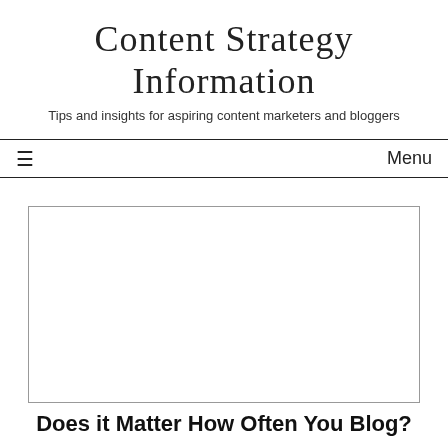Content Strategy Information
Tips and insights for aspiring content marketers and bloggers
≡   Menu
[Figure (other): Large white rectangular image placeholder with thin border]
Does it Matter How Often You Blog?